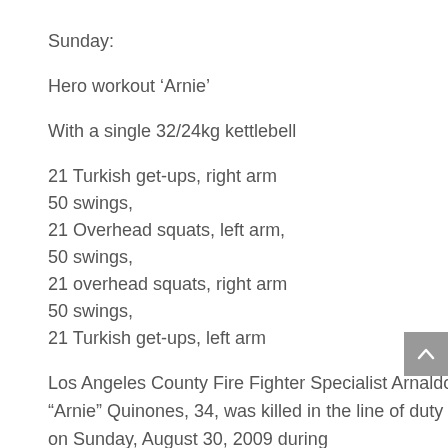Sunday:
Hero workout ‘Arnie’
With a single 32/24kg kettlebell
21 Turkish get-ups, right arm
50 swings,
21 Overhead squats, left arm,
50 swings,
21 overhead squats, right arm
50 swings,
21 Turkish get-ups, left arm
Los Angeles County Fire Fighter Specialist Arnaldo “Arnie” Quinones, 34, was killed in the line of duty on Sunday, August 30, 2009 during